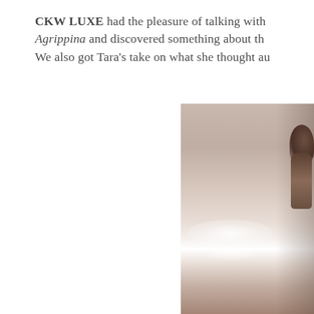CKW LUXE had the pleasure of talking with Agrippina and discovered something about th... We also got Tara's take on what she thought au...
[Figure (photo): A sepia-toned or warm monochromatic photo of a person, partially cropped on the right side of the page. The image has a bright glare/light flare near the lower middle area. The figure appears to be wearing dark clothing and is positioned to the right edge of the frame.]